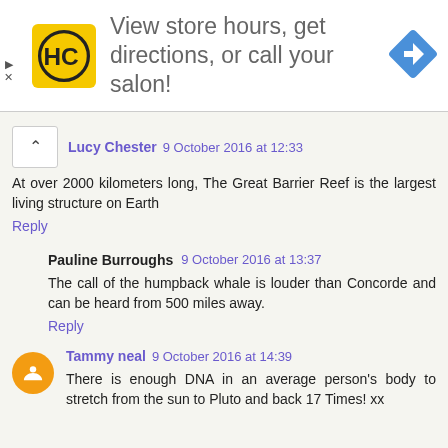[Figure (screenshot): Ad banner with HC logo (yellow square with HC letters in black circle), text 'View store hours, get directions, or call your salon!', and a blue diamond navigation icon on the right. Small play and X controls on the left side.]
Lucy Chester 9 October 2016 at 12:33
At over 2000 kilometers long, The Great Barrier Reef is the largest living structure on Earth
Reply
Pauline Burroughs 9 October 2016 at 13:37
The call of the humpback whale is louder than Concorde and can be heard from 500 miles away.
Reply
Tammy neal 9 October 2016 at 14:39
There is enough DNA in an average person's body to stretch from the sun to Pluto and back 17 Times! xx